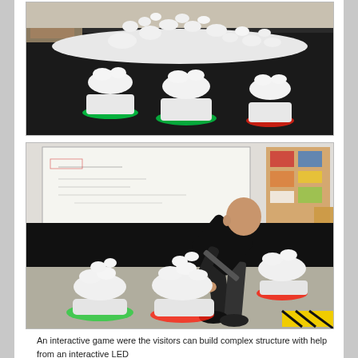[Figure (photo): White 3D-printed fractal/coral-like sculptural pieces connected together, displayed on a table draped with a black cloth. The pieces sit on illuminated bases glowing green and red.]
[Figure (photo): A bald man in a black shirt and dark pants leans over and handles white 3D-printed fractal/coral-like sculptural pieces on glowing LED bases (green and red) on an indoor floor, with a whiteboard and pinboard visible in the background.]
An interactive game were the visitors can build complex structure with help from an interactive LED